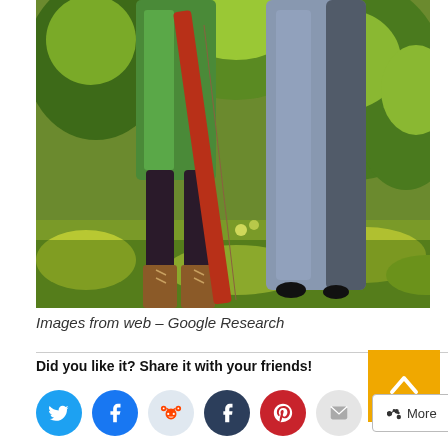[Figure (illustration): Vintage illustration showing lower bodies of two figures in a forest or garden setting. Left figure wears a green tunic, brown tights, leather boots with laces, and carries a red bow. Right figure wears a long blue-grey dress. Lush green and yellow grass and foliage fill the background.]
Images from web – Google Research
Did you like it? Share it with your friends!